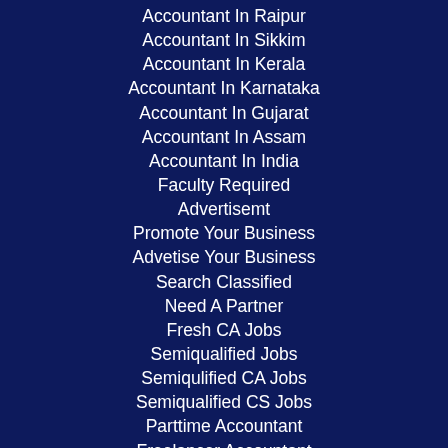Accountant In Raipur
Accountant In Sikkim
Accountant In Kerala
Accountant In Karnataka
Accountant In Gujarat
Accountant In Assam
Accountant In India
Faculty Required
Advertisemt
Promote Your Business
Advetise Your Business
Search Classified
Need A Partner
Fresh CA Jobs
Semiqualified Jobs
Semiqulified CA Jobs
Semiqualified CS Jobs
Parttime Accountant
Freelancer Accountant